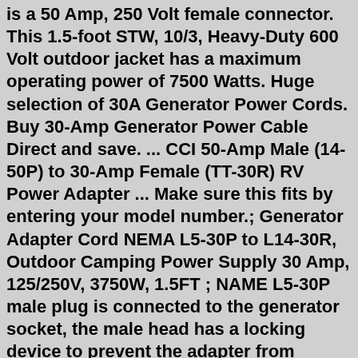is a 50 Amp, 250 Volt female connector. This 1.5-foot STW, 10/3, Heavy-Duty 600 Volt outdoor jacket has a maximum operating power of 7500 Watts. Huge selection of 30A Generator Power Cords. Buy 30-Amp Generator Power Cable Direct and save. ... CCI 50-Amp Male (14-50P) to 30-Amp Female (TT-30R) RV Power Adapter ... Make sure this fits by entering your model number.; Generator Adapter Cord NEMA L5-30P to L14-30R, Outdoor Camping Power Supply 30 Amp, 125/250V, 3750W, 1.5FT ; NAME L5-30P male plug is connected to the generator socket, the male head has a locking device to prevent the adapter from accidentally falling off.NEMA L14-30R female plug is connected to the inlet box, and the female plug has a ... May 13, 2021 · ↵ Leisure Cords 18" 30 AMP 3 Prong Twist Lock Cord to 15 AMP Flexible Tri-Outlet Free Expedited Shipping, Ships Same, Or Next Business Day ---For use in industrial, construction, RV applications ---Reliability, protection, and quality ---Premium grade 10 gauge cord ---Yellow End ---Converts 30AMP with Twist Lock to NEMA 15AMP